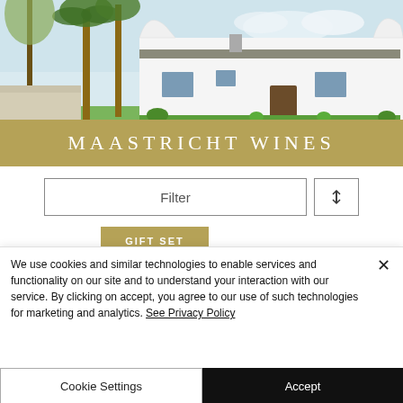[Figure (photo): Cape Dutch style white farmhouse with palm trees and garden in foreground, Maastricht Wines property]
MAASTRICHT WINES
Filter
GIFT SET
We use cookies and similar technologies to enable services and functionality on our site and to understand your interaction with our service. By clicking on accept, you agree to our use of such technologies for marketing and analytics. See Privacy Policy
Cookie Settings
Accept